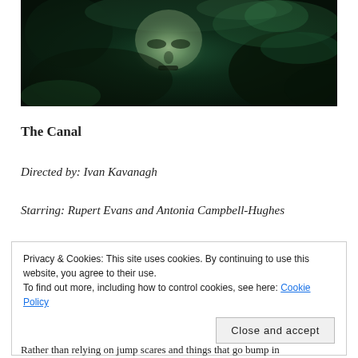[Figure (photo): Dark greenish horror movie image showing a ghostly face submerged or overlaid with water/texture effects]
The Canal
Directed by: Ivan Kavanagh
Starring: Rupert Evans and Antonia Campbell-Hughes
Privacy & Cookies: This site uses cookies. By continuing to use this website, you agree to their use.
To find out more, including how to control cookies, see here: Cookie Policy
[Close and accept button]
Rather than relying on jump scares and things that go bump in